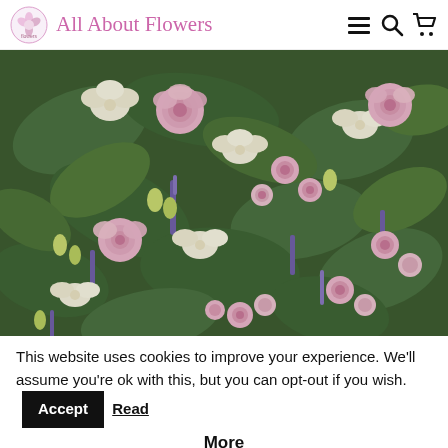All About Flowers
[Figure (photo): Close-up photo of a floral arrangement with pink roses, white lisianthus, purple veronica, and green foliage — a casket spray or table centrepiece]
This website uses cookies to improve your experience. We'll assume you're ok with this, but you can opt-out if you wish. Accept Read More